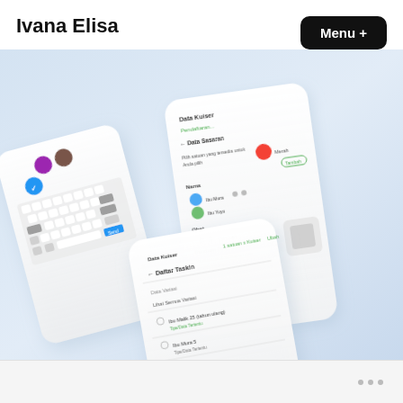Ivana Elisa
Menu +
[Figure (screenshot): UI design portfolio screenshot showing three mobile phone screens with app interfaces: a keyboard/color picker screen on the left, a data/form entry screen in the center-right, and a list/table view screen at the bottom center. The phones are arranged in a 3D isometric perspective on a light blue gradient background.]
• • •